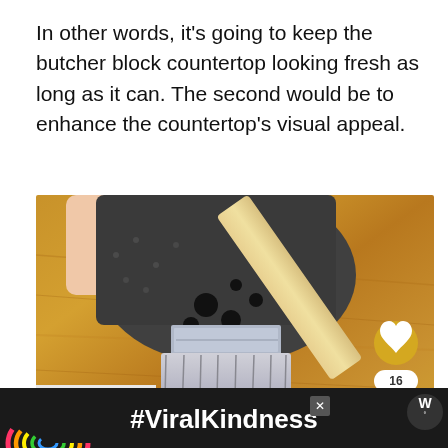In other words, it's going to keep the butcher block countertop looking fresh as long as it can. The second would be to enhance the countertop's visual appeal.
[Figure (photo): A gloved hand holding a paint brush applying finish to a butcher block wood countertop. The person wears a dark gray work glove. Social media UI overlay includes a heart button (16 likes), a share button, and a 'What's Next' card showing 'What's The Best Sherwi...']
[Figure (screenshot): Advertisement banner at bottom: dark background with a rainbow illustration, bold white text '#ViralKindness', close button X, and a logo on the right]